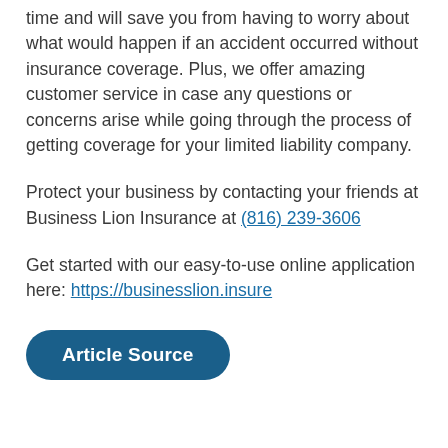time and will save you from having to worry about what would happen if an accident occurred without insurance coverage. Plus, we offer amazing customer service in case any questions or concerns arise while going through the process of getting coverage for your limited liability company.
Protect your business by contacting your friends at Business Lion Insurance at (816) 239-3606
Get started with our easy-to-use online application here: https://businesslion.insure
Article Source